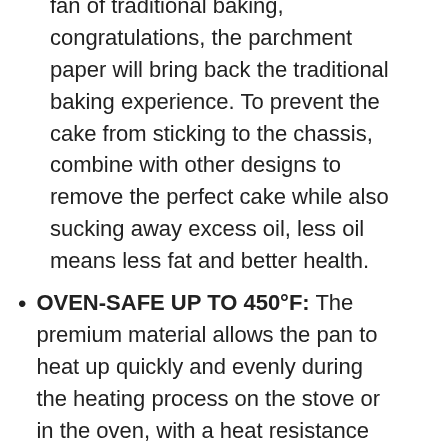fan of traditional baking, congratulations, the parchment paper will bring back the traditional baking experience. To prevent the cake from sticking to the chassis, combine with other designs to remove the perfect cake while also sucking away excess oil, less oil means less fat and better health.
OVEN-SAFE UP TO 450°F: The premium material allows the pan to heat up quickly and evenly during the heating process on the stove or in the oven, with a heat resistance of up to 450°F, the food can be